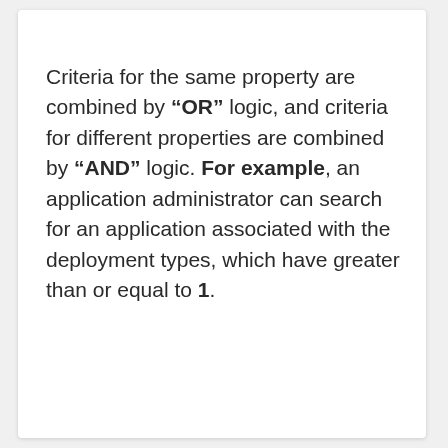Criteria for the same property are combined by "OR" logic, and criteria for different properties are combined by "AND" logic. For example, an application administrator can search for an application associated with the deployment types, which have greater than or equal to 1.